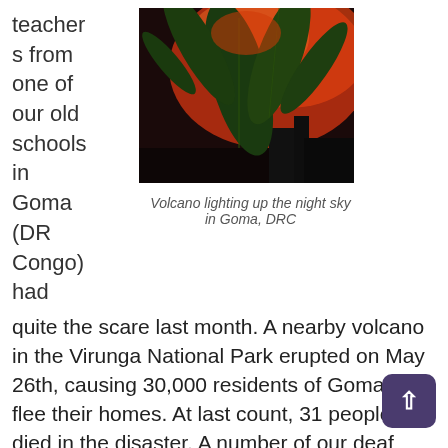teachers from one of our old schools in Goma (DR Congo) had
[Figure (photo): A photo of a volcano lighting up the night sky in Goma, DRC. The sky is bright red/orange from the volcanic glow, with tropical leaves (banana plant) silhouetted in the foreground against a dark background.]
Volcano lighting up the night sky in Goma, DRC
quite the scare last month. A nearby volcano in the Virunga National Park erupted on May 26th, causing 30,000 residents of Goma to flee their homes. At last count, 31 people died in the disaster. A number of our deaf friends in the city also had to leave the city until the lava cooled and the earthquakes ceased. One of them, a young evangelist named Temo, sent me several photos of the volcano and ensuing damage done by the volcano. Pray that their lives will be quickly restored.